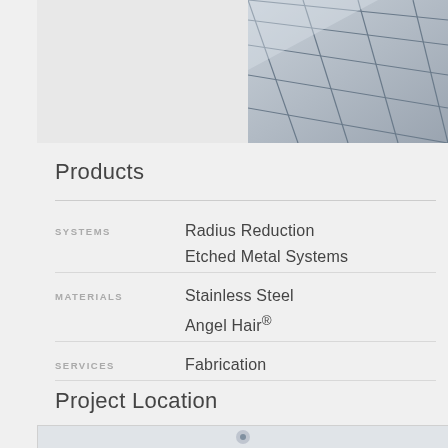[Figure (photo): Partial view of metal panels/cladding with diagonal geometric pattern, showing stainless steel etched metal surface tiles]
Products
| Category | Value |
| --- | --- |
| SYSTEMS | Radius Reduction |
|  | Etched Metal Systems |
| MATERIALS | Stainless Steel |
|  | Angel Hair® |
| SERVICES | Fabrication |
Project Location
[Figure (map): Map showing project location (partially visible at bottom of page)]